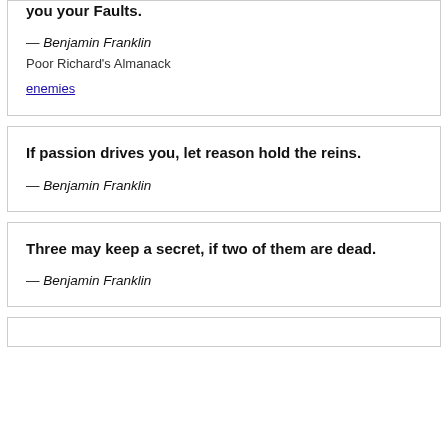you your Faults.
— Benjamin Franklin
Poor Richard's Almanack
enemies
If passion drives you, let reason hold the reins.
— Benjamin Franklin
Three may keep a secret, if two of them are dead.
— Benjamin Franklin